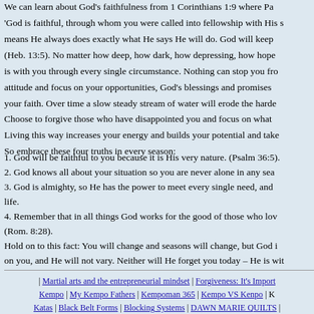We can learn about God's faithfulness from 1 Corinthians 1:9 where Pa 'God is faithful, through whom you were called into fellowship with His s means He always does exactly what He says He will do. God will keep (Heb. 13:5). No matter how deep, how dark, how depressing, how hope is with you through every single circumstance. Nothing can stop you fro attitude and focus on your opportunities, God's blessings and promises your faith. Over time a slow steady stream of water will erode the harde Choose to forgive those who have disappointed you and focus on what Living this way increases your energy and builds your potential and take So embrace these four truths in every season:
1. God will be faithful to you because it is His very nature. (Psalm 36:5).
2. God knows all about your situation so you are never alone in any sea
3. God is almighty, so He has the power to meet every single need, and life.
4. Remember that in all things God works for the good of those who lov (Rom. 8:28).
Hold on to this fact: You will change and seasons will change, but God i on you, and He will not vary. Neither will He forget you today – He is wit
| Martial arts and the entrepreneurial mindset | Forgiveness: It's Import Kempo | My Kempo Fathers | Kempoman 365 | Kempo VS Kenpo | K Katas | Black Belt Forms | Blocking Systems | DAWN MARIE QUILTS | have done to Israel' | Always on Time | Catching Gods vision for your lif | Take Time to tell GOD I love YOU | God is Bigger than the dream I Hanging out with Fishermen | I am Broken Lord, Fix Me | 'If you Get Ma